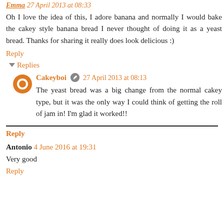Emma 27 April 2013 at 08:33
Oh I love the idea of this, I adore banana and normally I would bake the cakey style banana bread I never thought of doing it as a yeast bread. Thanks for sharing it really does look delicious :)
Reply
▼ Replies
Cakeyboi ✎ 27 April 2013 at 08:13
The yeast bread was a big change from the normal cakey type, but it was the only way I could think of getting the roll of jam in! I'm glad it worked!!
Reply
Antonio 4 June 2016 at 19:31
Very good
Reply